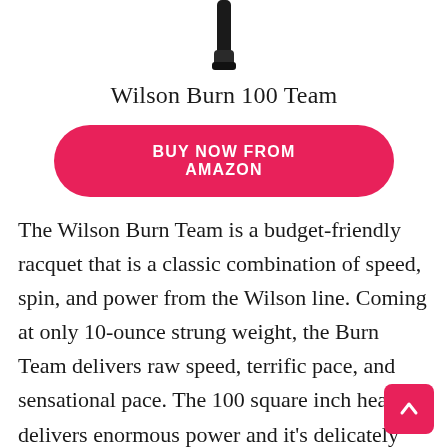[Figure (photo): Bottom portion of a black tennis racquet handle/grip against white background]
Wilson Burn 100 Team
BUY NOW FROM AMAZON
The Wilson Burn Team is a budget-friendly racquet that is a classic combination of speed, spin, and power from the Wilson line. Coming at only 10-ounce strung weight, the Burn Team delivers raw speed, terrific pace, and sensational pace. The 100 square inch head delivers enormous power and it’s delicately easy to swing and spin without any brutal strain on the arm. The 16×20 string pattern does a